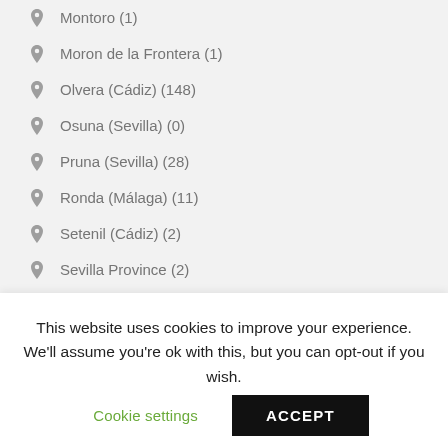Montoro (1)
Moron de la Frontera (1)
Olvera (Cádiz) (148)
Osuna (Sevilla) (0)
Pruna (Sevilla) (28)
Ronda (Málaga) (11)
Setenil (Cádiz) (2)
Sevilla Province (2)
Tarifa (0)
This website uses cookies to improve your experience. We'll assume you're ok with this, but you can opt-out if you wish.
Cookie settings
ACCEPT